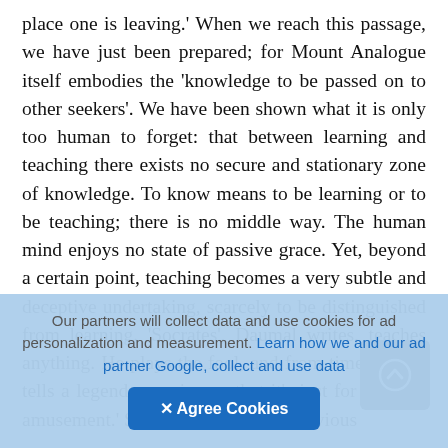place one is leaving.' When we reach this passage, we have just been prepared; for Mount Analogue itself embodies the 'knowledge to be passed on to other seekers'. We have been shown what it is only too human to forget: that between learning and teaching there exists no secure and stationary zone of knowledge. To know means to be learning or to be teaching; there is no middle way. The human mind enjoys no state of passive grace. Yet, beyond a certain point, teaching becomes a very subtle and deceptive undertaking, scarcely to be distinguished from learning. 'Socrates', Daumal writes, teaches anything. He plays the fool, and from time to time tells a legend, assuring us that it's just for his own amusement.' So Daumal, too, with obvious
[Figure (screenshot): Dark rounded navigation button with an upward arrow circle icon]
Our partners will collect data and use cookies for ad personalization and measurement. Learn how we and our ad partner Google, collect and use data
✕ Agree Cookies